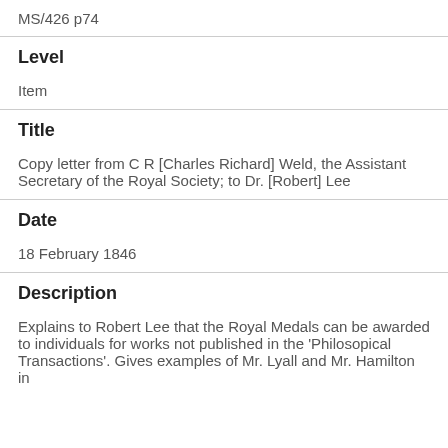MS/426 p74
Level
Item
Title
Copy letter from C R [Charles Richard] Weld, the Assistant Secretary of the Royal Society; to Dr. [Robert] Lee
Date
18 February 1846
Description
Explains to Robert Lee that the Royal Medals can be awarded to individuals for works not published in the 'Philosopical Transactions'. Gives examples of Mr. Lyall and Mr. Hamilton in